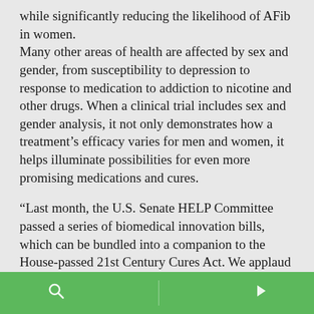while significantly reducing the likelihood of AFib in women.
Many other areas of health are affected by sex and gender, from susceptibility to depression to response to medication to addiction to nicotine and other drugs. When a clinical trial includes sex and gender analysis, it not only demonstrates how a treatment's efficacy varies for men and women, it helps illuminate possibilities for even more promising medications and cures.
“Last month, the U.S. Senate HELP Committee passed a series of biomedical innovation bills, which can be bundled into a companion to the House-passed 21st Century Cures Act. We applaud this bipartisan commitment to fighting disease and saving lives. One of the Senate bills is the